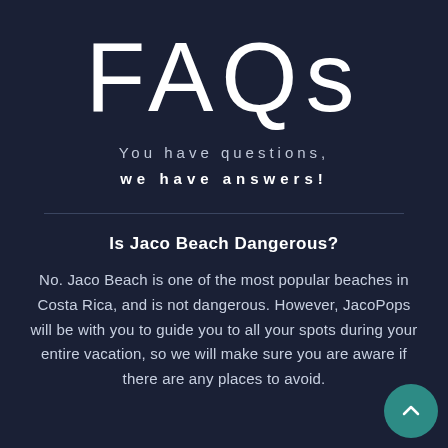FAQs
You have questions, we have answers!
Is Jaco Beach Dangerous?
No. Jaco Beach is one of the most popular beaches in Costa Rica, and is not dangerous. However, JacoPops will be with you to guide you to all your spots during your entire vacation, so we will make sure you are aware if there are any places to avoid.